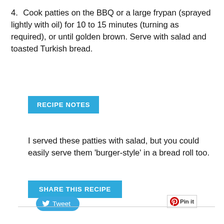4. Cook patties on the BBQ or a large frypan (sprayed lightly with oil) for 10 to 15 minutes (turning as required), or until golden brown. Serve with salad and toasted Turkish bread.
RECIPE NOTES
I served these patties with salad, but you could easily serve them 'burger-style' in a bread roll too.
SHARE THIS RECIPE
Tweet
[Figure (other): Pin It button]